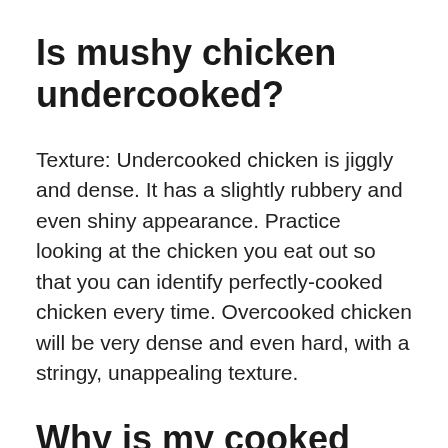Is mushy chicken undercooked?
Texture: Undercooked chicken is jiggly and dense. It has a slightly rubbery and even shiny appearance. Practice looking at the chicken you eat out so that you can identify perfectly-cooked chicken every time. Overcooked chicken will be very dense and even hard, with a stringy, unappealing texture.
Why is my cooked chicken gooey?
If your chicken is slimy, has a foul smell, or has changed to a yellow, green, or gray